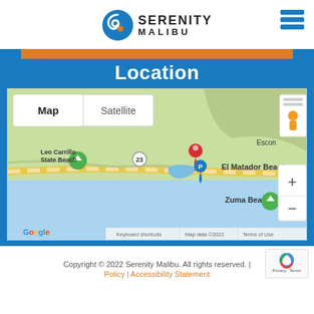[Figure (logo): Serenity Malibu logo with circular blue swirl icon and bold text 'SERENITY MALIBU']
Location
[Figure (map): Google Map showing Malibu coast with location pin near El Matador Beach, showing Leo Carrillo State Beach, Zuma Beach, highway 23, and Escondido. Map/Satellite toggle visible. Zoom controls visible. Google branding, Keyboard shortcuts, Map data ©2022, Terms of Use shown.]
Copyright © 2022 Serenity Malibu. All rights reserved. | Policy | Accessibility Statement